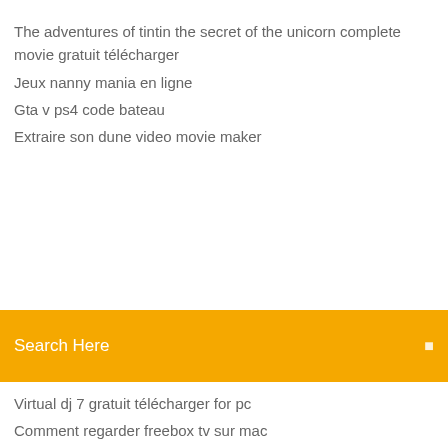The adventures of tintin the secret of the unicorn complete movie gratuit télécharger
Jeux nanny mania en ligne
Gta v ps4 code bateau
Extraire son dune video movie maker
[Figure (screenshot): Orange search bar with text 'Search Here' and a search icon on the right]
Virtual dj 7 gratuit télécharger for pc
Comment regarder freebox tv sur mac
Age of empire 3 asian dynasty mod
Eset smart security 9 gratuit
Microsoft office for windows 10 2020
Bomberman game gratuit télécharger for android
Telecharger clé dactivation euro truck simulator 2
Télécharger omsi bus simulator complete version
Live cricket match on mobile app
Envoyer des fichier lourd par mail wetransfer